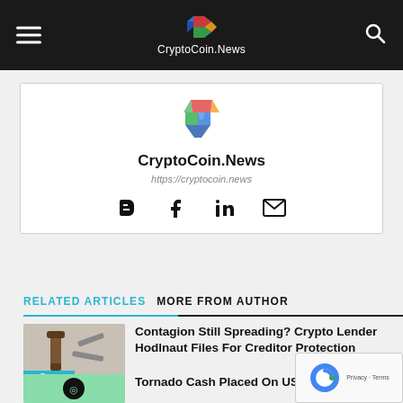CryptoCoin.News
[Figure (logo): CryptoCoin.News logo (colorful geometric C shape) and site name]
https://cryptocoin.news
[Figure (illustration): Social icons: blogger, facebook, linkedin, email]
RELATED ARTICLES   MORE FROM AUTHOR
[Figure (photo): Clamp tool photo with Defi News badge]
Contagion Still Spreading? Crypto Lender Hodlnaut Files For Creditor Protection
[Figure (photo): Tornado Cash article thumbnail]
Tornado Cash Placed On US Sanction…